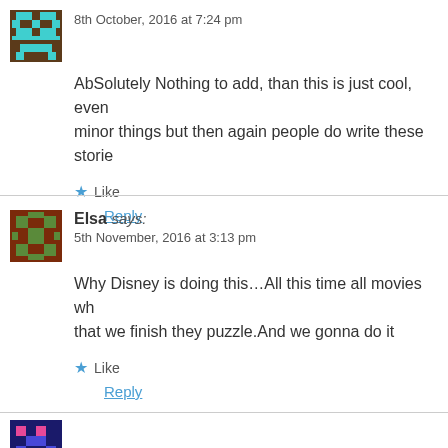8th October, 2016 at 7:24 pm
AbSolutely Nothing to add, than this is just cool, even minor things but then again people do write these storie
Like
Reply
Elsa says:
5th November, 2016 at 3:13 pm
Why Disney is doing this…All this time all movies wh that we finish they puzzle.And we gonna do it
Like
Reply